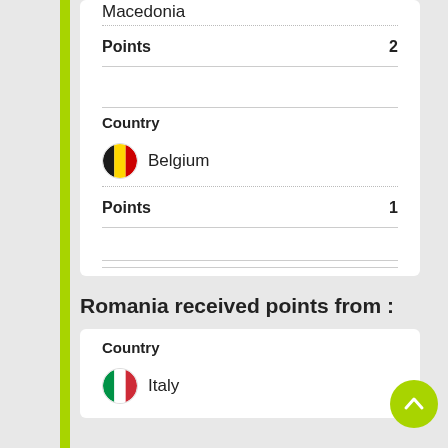Macedonia
Points  2
Country
Belgium
Points  1
Romania received points from :
Country
Italy